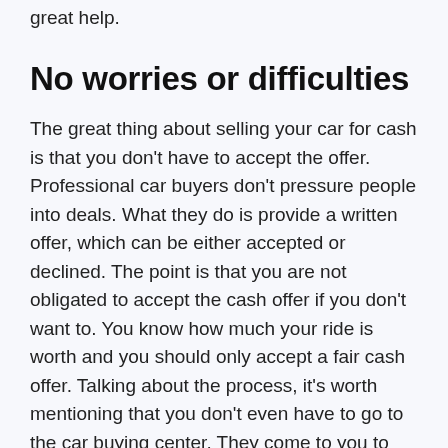great help.
No worries or difficulties
The great thing about selling your car for cash is that you don't have to accept the offer. Professional car buyers don't pressure people into deals. What they do is provide a written offer, which can be either accepted or declined. The point is that you are not obligated to accept the cash offer if you don't want to. You know how much your ride is worth and you should only accept a fair cash offer. Talking about the process, it's worth mentioning that you don't even have to go to the car buying center. They come to you to appraise the automobile.